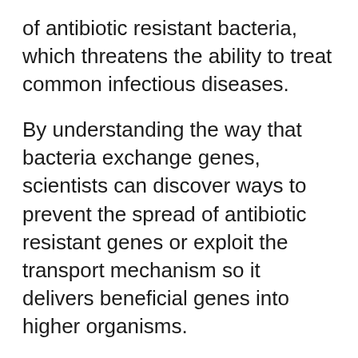of antibiotic resistant bacteria, which threatens the ability to treat common infectious diseases.
By understanding the way that bacteria exchange genes, scientists can discover ways to prevent the spread of antibiotic resistant genes or exploit the transport mechanism so it delivers beneficial genes into higher organisms.
Professor Gabriel Waksman (UCL Structural & Molecular Biology and Birkbeck, University of London), the lead author of the study, said: “We are in a global crisis of antibiotic resistance, which threatens to overcome healthcare systems all over the world – the